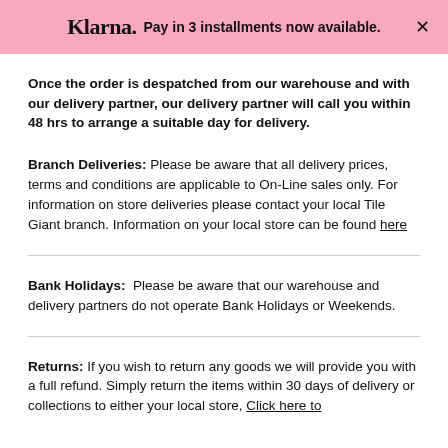Klarna. Pay in 3 installments now available.
Once the order is despatched from our warehouse and with our delivery partner, our delivery partner will call you within 48 hrs to arrange a suitable day for delivery.
Branch Deliveries: Please be aware that all delivery prices, terms and conditions are applicable to On-Line sales only. For information on store deliveries please contact your local Tile Giant branch. Information on your local store can be found here
Bank Holidays:  Please be aware that our warehouse and delivery partners do not operate Bank Holidays or Weekends.
Returns: If you wish to return any goods we will provide you with a full refund. Simply return the items within 30 days of delivery or collections to either your local store, Click here to